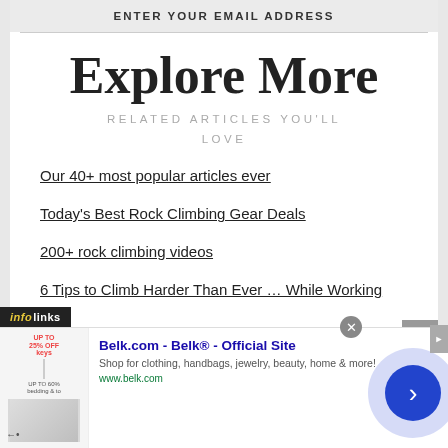ENTER YOUR EMAIL ADDRESS
Explore More
RELATED ARTICLES YOU'LL LOVE
Our 40+ most popular articles ever
Today's Best Rock Climbing Gear Deals
200+ rock climbing videos
6 Tips to Climb Harder Than Ever … While Working
[Figure (screenshot): Advertisement banner: infolinks badge, Belk.com ad with image, title 'Belk.com - Belk® - Official Site', description 'Shop for clothing, handbags, jewelry, beauty, home & more!', url 'www.belk.com', close button, navigation arrow circle]